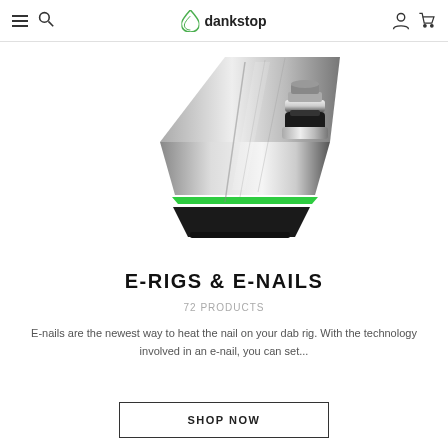dankstop
[Figure (photo): Close-up photo of an e-rig/e-nail device with a chrome and black metallic body, green LED accent lighting around the base, and a coil attachment on top, positioned diagonally on a white background.]
E-RIGS & E-NAILS
72 PRODUCTS
E-nails are the newest way to heat the nail on your dab rig. With the technology involved in an e-nail, you can set...
SHOP NOW